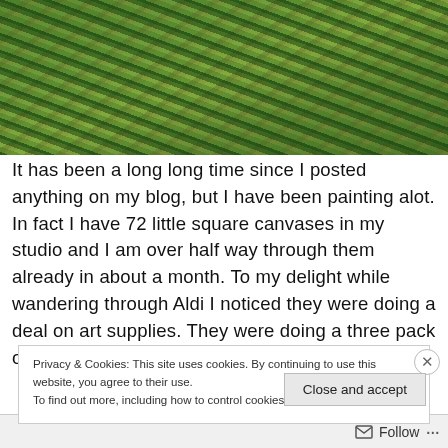[Figure (photo): Photograph of green palm or grass-like leaves and dried foliage on sandy/earthy ground, taken outdoors in bright sunlight]
It has been a long long time since I posted anything on my blog, but I have been painting alot. In fact I have 72 little square canvases in my studio and I am over half way through them already in about a month. To my delight while wandering through Aldi I noticed they were doing a deal on art supplies. They were doing a three pack of deep
Privacy & Cookies: This site uses cookies. By continuing to use this website, you agree to their use.
To find out more, including how to control cookies, see here: Cookie Policy
Close and accept
Follow